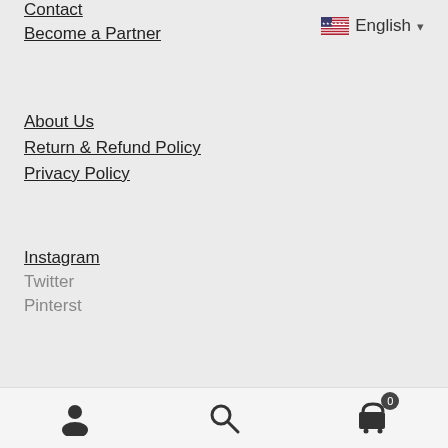Contact
Become a Partner
English ▾
About Us
Return & Refund Policy
Privacy Policy
Instagram
Twitter
Pinterst
[Figure (other): Bottom navigation bar with user account icon, search icon, and shopping cart icon with badge showing 0]